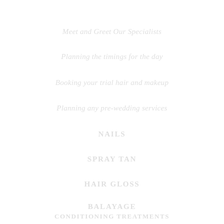Meet and Greet Our Specialists
Planning the timings for the day
Booking your trial hair and makeup
Planning any pre-wedding services
NAILS
SPRAY TAN
HAIR GLOSS
BALAYAGE
CONDITIONING TREATMENTS